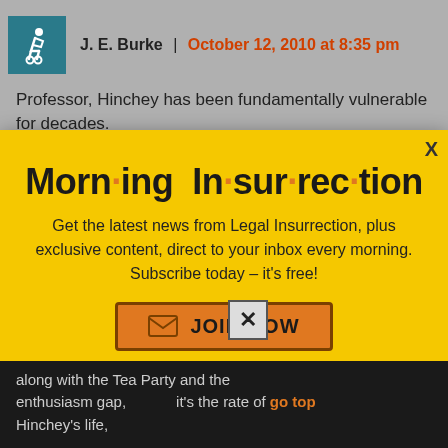J. E. Burke | October 12, 2010 at 8:35 pm
Professor, Hinchey has been fundamentally vulnerable for decades.
[Figure (infographic): Morning Insurrection newsletter signup modal popup with yellow background, title 'Morning Insurrection', subscription text, and orange JOIN NOW button.]
along with the Tea Party and the enthusiasm gap, it's the rate of go top Hinchey's life,